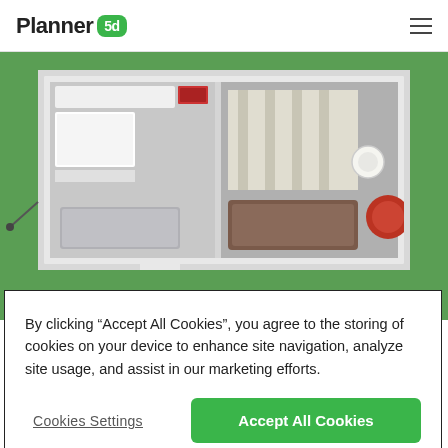Planner 5d
[Figure (screenshot): 3D floor plan view from above showing a two-room apartment layout with green surroundings, white walls, furniture including a bed, sofa, and kitchen appliances rendered in a top-down perspective.]
By clicking “Accept All Cookies”, you agree to the storing of cookies on your device to enhance site navigation, analyze site usage, and assist in our marketing efforts.
Cookies Settings
Accept All Cookies